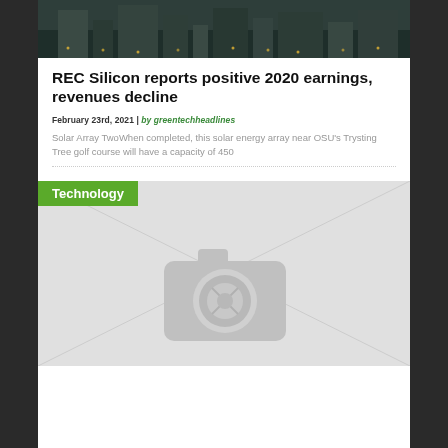[Figure (photo): Aerial night view of an industrial facility with lights]
REC Silicon reports positive 2020 earnings, revenues decline
February 23rd, 2021 | by greentechheadlines
Solar Array TwoWhen completed, this solar energy array near OSU's Trysting Tree golf course will have a capacity of 450
[Figure (photo): Technology category placeholder image with camera icon]